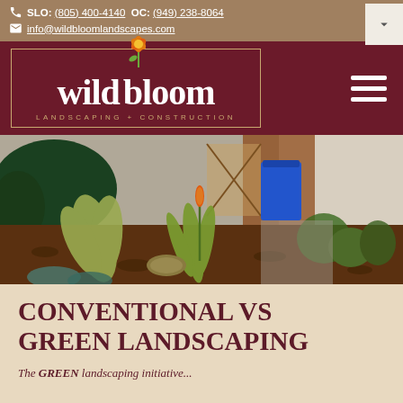SLO: (805) 400-4140  OC: (949) 238-8064  info@wildbloomlandscapes.com
[Figure (logo): Wild Bloom Landscaping + Construction logo with orange flower on dark maroon background]
[Figure (photo): Residential front yard with drought-tolerant plants, ornamental grasses, mulch, and succulents. A blue trash bin and brick home are visible in the background.]
CONVENTIONAL VS GREEN LANDSCAPING
The GREEN landscaping initiative...